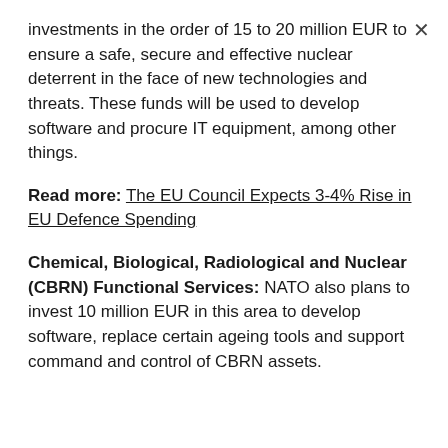investments in the order of 15 to 20 million EUR to ensure a safe, secure and effective nuclear deterrent in the face of new technologies and threats. These funds will be used to develop software and procure IT equipment, among other things.
Read more: The EU Council Expects 3-4% Rise in EU Defence Spending
Chemical, Biological, Radiological and Nuclear (CBRN) Functional Services: NATO also plans to invest 10 million EUR in this area to develop software, replace certain ageing tools and support command and control of CBRN assets.